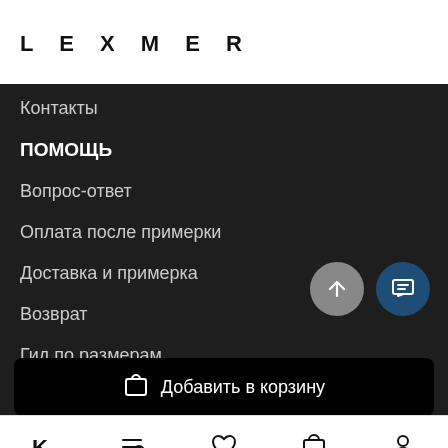LEXMER
Контакты
ПОМОЩЬ
Вопрос-ответ
Оплата после примерки
Доставка и примерка
Возврат
Гид по размерам
Добавить в корзину
bottom navigation bar with icons